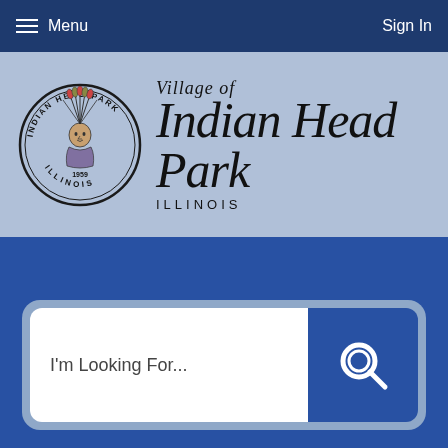Menu  |  Sign In
[Figure (logo): Village of Indian Head Park Illinois municipal logo with circular seal showing Native American chief headdress, dated 1959, and stylized script text reading 'Village of Indian Head Park ILLINOIS']
[Figure (screenshot): Search bar with placeholder text 'I'm Looking For...' and blue search button with magnifying glass icon]
I'm Looking For...